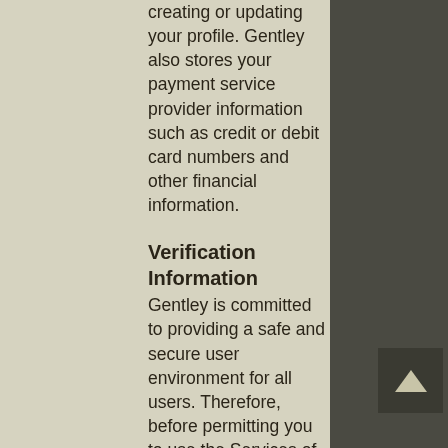creating or updating your profile. Gentley also stores your payment service provider information such as credit or debit card numbers and other financial information.
Verification Information
Gentley is committed to providing a safe and secure user environment for all users. Therefore, before permitting you to use the Services of Gentley, you will be required to provide additional information from you that will be used for the sole purpose to verify your identity, address, or other information, to manage risk and compliance throughout your relationship with Gentley. Gentley may also obtain information about you from third parties such as identity verification, fraud prevention, and similar services. The Adriatic Development Corporation collects